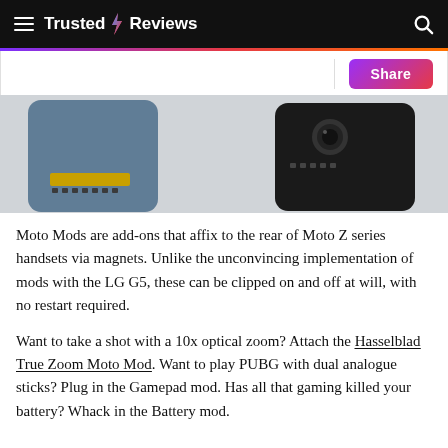Trusted Reviews
[Figure (photo): Two Moto Z smartphones shown from the back, one in blue/grey and one in black, both displaying their mod connector pins on the rear.]
Moto Mods are add-ons that affix to the rear of Moto Z series handsets via magnets. Unlike the unconvincing implementation of mods with the LG G5, these can be clipped on and off at will, with no restart required.
Want to take a shot with a 10x optical zoom? Attach the Hasselblad True Zoom Moto Mod. Want to play PUBG with dual analogue sticks? Plug in the Gamepad mod. Has all that gaming killed your battery? Whack in the Battery mod.